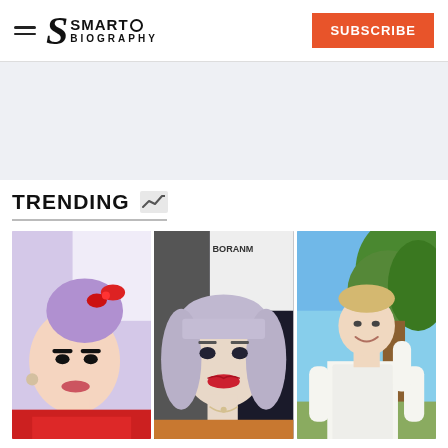SmartO Biography | SUBSCRIBE
TRENDING
[Figure (photo): Three celebrity photos in a trending section: woman with purple hair and red bow selfie, woman with purple-gray bangs at event, man outdoors near tree]